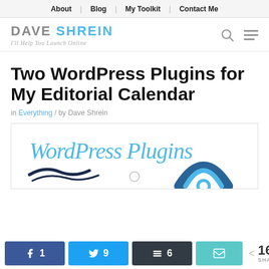About | Blog | My Toolkit | Contact Me
DAVE SHREIN
I'll Help You Launch Online
Two WordPress Plugins for My Editorial Calendar
in Everything / by Dave Shrein
[Figure (illustration): WordPress Plugins header image with stylized blue text 'WordPress Plugins' and WordPress logo arcs]
1 (Facebook) | 9 (Twitter) | 6 (Buffer) | Email | < 16 SHARES